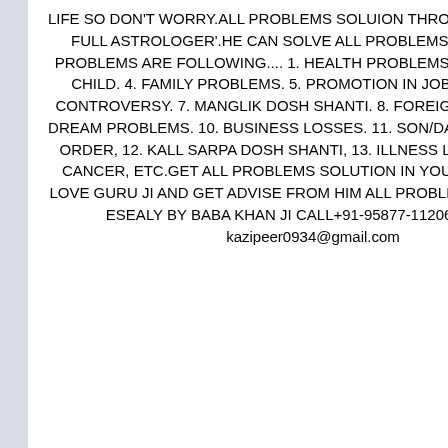LIFE SO DON'T WORRY.ALL PROBLEMS SOLUION THROUGH THE POWER FULL ASTROLOGER'.HE CAN SOLVE ALL PROBLEMS IN YOUR LIFE. PROBLEMS ARE FOLLOWING.... 1. HEALTH PROBLEMS. 2. LOVE LIFE. 3. CHILD. 4. FAMILY PROBLEMS. 5. PROMOTION IN JOB. 6. DOMESTIC CONTROVERSY. 7. MANGLIK DOSH SHANTI. 8. FOREIGN TRAVELING. 9. DREAM PROBLEMS. 10. BUSINESS LOSSES. 11. SON/DAUGHTER OUT OF ORDER, 12. KALL SARPA DOSH SHANTI, 13. ILLNESS LIKE HEADACHE, CANCER, ETC.GET ALL PROBLEMS SOLUTION IN YOUR LIFE.CALL TO LOVE GURU JI AND GET ADVISE FROM HIM ALL PROBLEMS SOLVE VERY ESEALY BY BABA KHAN JI CALL+91-95877-11206 EMAIL ID kazipeer0934@gmail.com